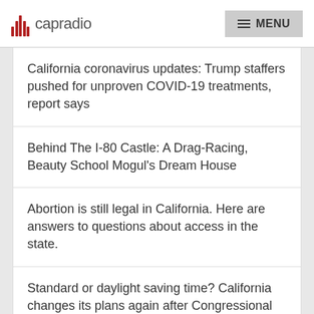capradio  MENU
California coronavirus updates: Trump staffers pushed for unproven COVID-19 treatments, report says
Behind The I-80 Castle: A Drag-Racing, Beauty School Mogul's Dream House
Abortion is still legal in California. Here are answers to questions about access in the state.
Standard or daylight saving time? California changes its plans again after Congressional resolution.